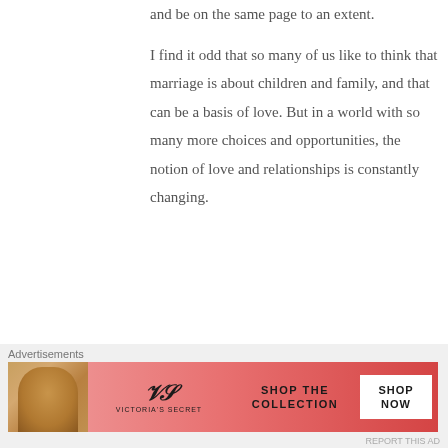and be on the same page to an extent.

I find it odd that so many of us like to think that marriage is about children and family, and that can be a basis of love. But in a world with so many more choices and opportunities, the notion of love and relationships is constantly changing.
★ Liked by 1 person
Reply ↓
Advertisements
[Figure (other): Victoria's Secret advertisement banner showing a woman with curly hair on the left, the VS logo and VICTORIA'S SECRET text in center-left, SHOP THE COLLECTION text, and a SHOP NOW button on the right, on a pink-to-red gradient background.]